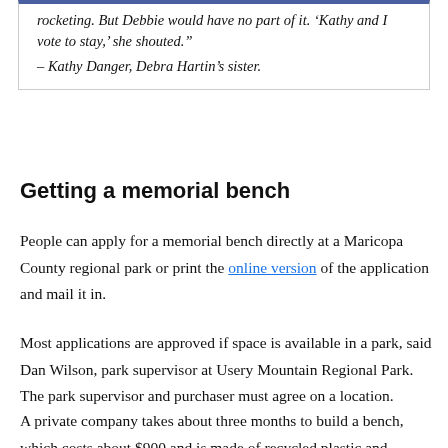rocketing. But Debbie would have no part of it. 'Kathy and I vote to stay,' she shouted." – Kathy Danger, Debra Hartin's sister.
Getting a memorial bench
People can apply for a memorial bench directly at a Maricopa County regional park or print the online version of the application and mail it in.
Most applications are approved if space is available in a park, said Dan Wilson, park supervisor at Usery Mountain Regional Park. The park supervisor and purchaser must agree on a location.
A private company takes about three months to build a bench, which costs about $900 and is made of recycled plastic and